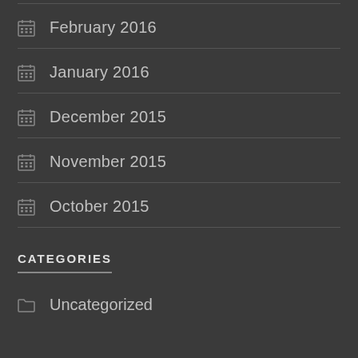February 2016
January 2016
December 2015
November 2015
October 2015
CATEGORIES
Uncategorized